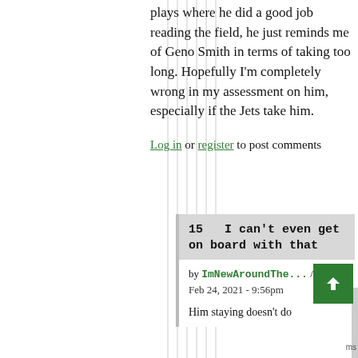plays where he did a good job reading the field, he just reminds me of Geno Smith in terms of taking too long. Hopefully I'm completely wrong in my assessment on him, especially if the Jets take him.
Log in or register to post comments
15   I can't even get on board with that
by ImNewAroundThe... // Feb 24, 2021 - 9:56pm
Him staying doesn't do